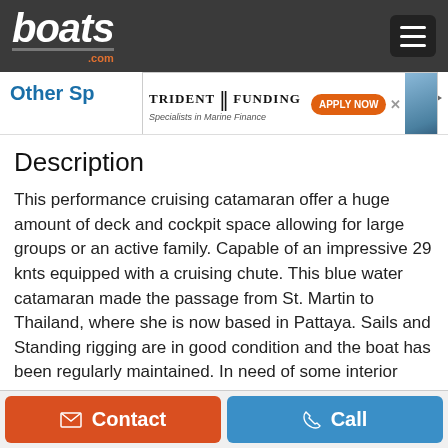boats.com
Other Sp
[Figure (photo): Trident Funding advertisement banner — Specialists in Marine Finance — APPLY NOW button — boat image in background]
Description
This performance cruising catamaran offer a huge amount of deck and cockpit space allowing for large groups or an active family. Capable of an impressive 29 knts equipped with a cruising chute. This blue water catamaran made the passage from St. Martin to Thailand, where she is now based in Pattaya. Sails and Standing rigging are in good condition and the boat has been regularly maintained. In need of some interior cosmetic refitting this boat is realistically priced by a motivated seller.
Contact | Call